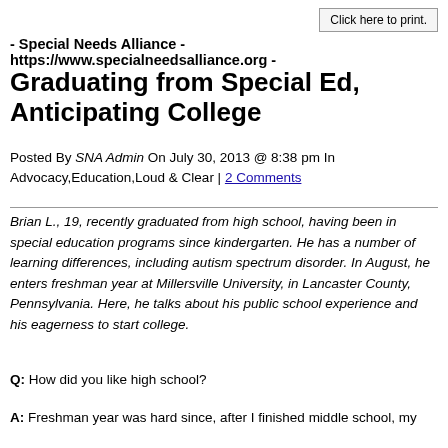Click here to print.
- Special Needs Alliance - https://www.specialneedsalliance.org -
Graduating from Special Ed, Anticipating College
Posted By SNA Admin On July 30, 2013 @ 8:38 pm In Advocacy,Education,Loud & Clear | 2 Comments
Brian L., 19, recently graduated from high school, having been in special education programs since kindergarten. He has a number of learning differences, including autism spectrum disorder. In August, he enters freshman year at Millersville University, in Lancaster County, Pennsylvania. Here, he talks about his public school experience and his eagerness to start college.
Q: How did you like high school?
A: Freshman year was hard since, after I finished middle school, my